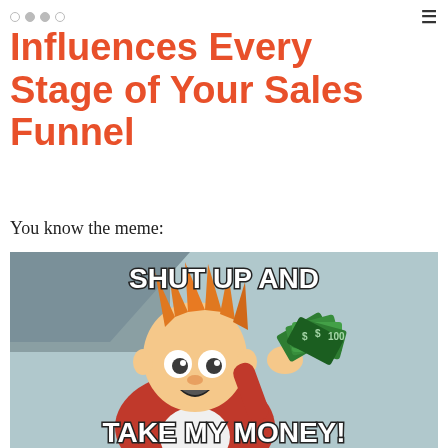Influences Every Stage of Your Sales Funnel
Influences Every Stage of Your Sales Funnel
You know the meme:
[Figure (illustration): Futurama Fry 'Shut Up and Take My Money' meme. A cartoon character with orange spiky hair wearing a red jacket holds up a fistful of cash with the text 'SHUT UP AND' at the top and 'TAKE MY MONEY!' at the bottom.]